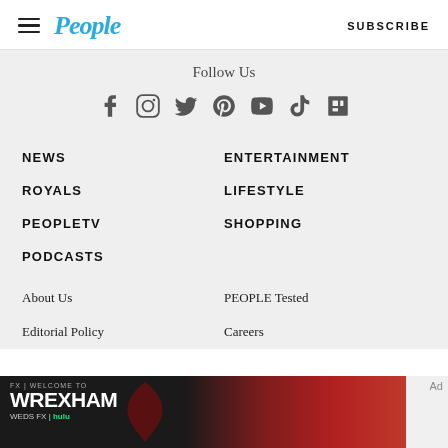People — SUBSCRIBE
Follow Us
[Figure (infographic): Social media icons: Facebook, Instagram, Twitter, Pinterest, YouTube, TikTok, Flipboard]
NEWS
ENTERTAINMENT
ROYALS
LIFESTYLE
PEOPLETV
SHOPPING
PODCASTS
About Us
PEOPLE Tested
Editorial Policy
Careers
[Figure (screenshot): Advertisement banner for Welcome to Wrexham on FX, streaming on Hulu. WEDS FX | hulu]